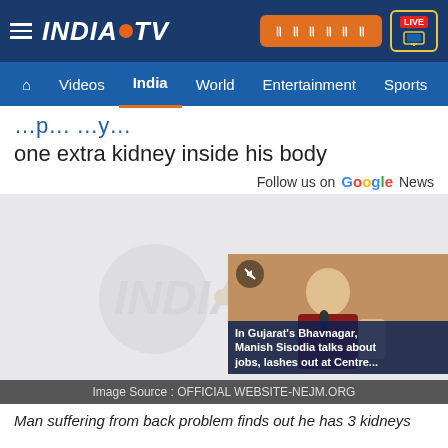[Figure (logo): India TV logo with hamburger menu, Hindi button, and LIVE TV button in dark blue top navigation bar]
Videos  India  World  Entertainment  Sports
one extra kidney inside his body
Follow us on Google News
[Figure (photo): Main article image with watermark and an overlaid video thumbnail showing a man in red shirt speaking into a microphone with caption: In Gujarat's Bhavnagar, Manish Sisodia talks about jobs, lashes out at Centre...]
Image Source : OFFICIAL WEBSITE-NEJM.ORG
Man suffering from back problem finds out he has 3 kidneys